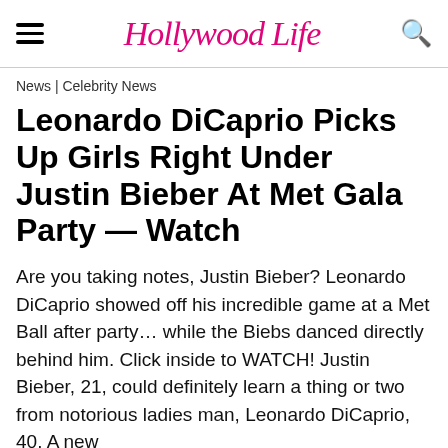Hollywood Life
News | Celebrity News
Leonardo DiCaprio Picks Up Girls Right Under Justin Bieber At Met Gala Party — Watch
Are you taking notes, Justin Bieber? Leonardo DiCaprio showed off his incredible game at a Met Ball after party… while the Biebs danced directly behind him. Click inside to WATCH! Justin Bieber, 21, could definitely learn a thing or two from notorious ladies man, Leonardo DiCaprio, 40. A new